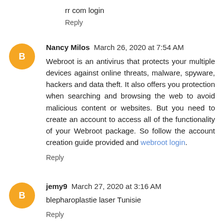rr com login
Reply
Nancy Milos  March 26, 2020 at 7:54 AM
Webroot is an antivirus that protects your multiple devices against online threats, malware, spyware, hackers and data theft. It also offers you protection when searching and browsing the web to avoid malicious content or websites. But you need to create an account to access all of the functionality of your Webroot package. So follow the account creation guide provided and webroot login.
Reply
jemy9  March 27, 2020 at 3:16 AM
blepharoplastie laser Tunisie
Reply